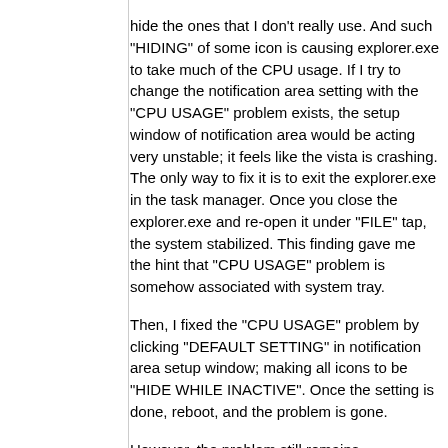hide the ones that I don't really use. And such "HIDING" of some icon is causing explorer.exe to take much of the CPU usage. If I try to change the notification area setting with the "CPU USAGE" problem exists, the setup window of notification area would be acting very unstable; it feels like the vista is crashing. The only way to fix it is to exit the explorer.exe in the task manager. Once you close the explorer.exe and re-open it under "FILE" tap, the system stabilized. This finding gave me the hint that "CPU USAGE" problem is somehow associated with system tray.
Then, I fixed the "CPU USAGE" problem by clicking "DEFAULT SETTING" in notification area setup window; making all icons to be "HIDE WHILE INACTIVE". Once the setting is done, reboot, and the problem is gone.
However, the problem still remains